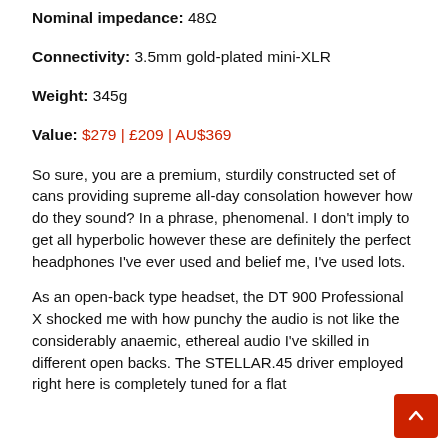Nominal impedance: 48Ω
Connectivity: 3.5mm gold-plated mini-XLR
Weight: 345g
Value: $279 | £209 | AU$369
So sure, you are a premium, sturdily constructed set of cans providing supreme all-day consolation however how do they sound? In a phrase, phenomenal. I don't imply to get all hyperbolic however these are definitely the perfect headphones I've ever used and belief me, I've used lots.
As an open-back type headset, the DT 900 Professional X shocked me with how punchy the audio is not like the considerably anaemic, ethereal audio I've skilled in different open backs. The STELLAR.45 driver employed right here is completely tuned for a flat